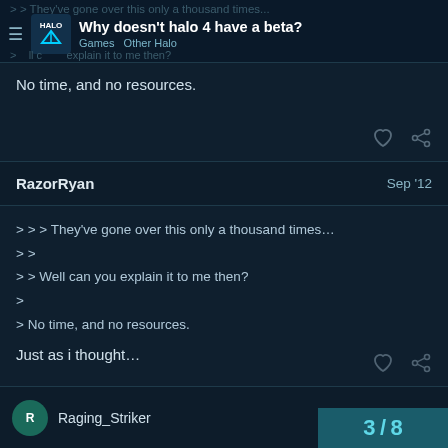Why doesn't halo 4 have a beta? | Games · Other Halo
No time, and no resources.
RazorRyan  Sep '12
> > > They've gone over this only a thousand times...
> >
> > Well can you explain it to me then?
>
> No time, and no resources.

Just as i thought...
Raging_Striker
3 / 8